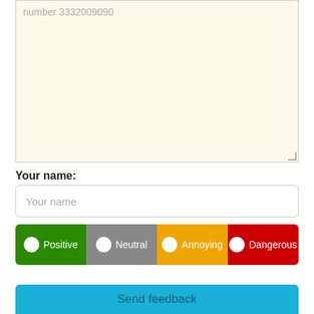number 3332009090
Your name:
Your name
Positive  Neutral  Annoying  Dangerous
Send feedback